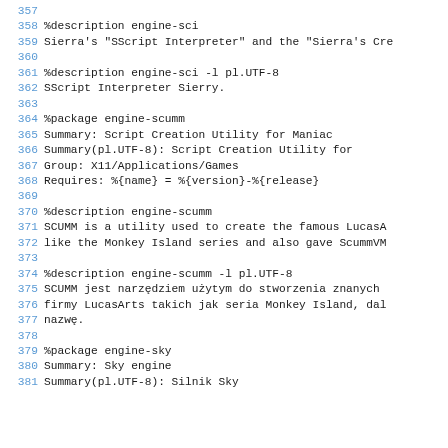357
358 %description engine-sci
359 Sierra's "SScript Interpreter" and the "Sierra's Cre
360
361 %description engine-sci -l pl.UTF-8
362 SScript Interpreter Sierry.
363
364 %package engine-scumm
365 Summary:        Script Creation Utility for Maniac
366 Summary(pl.UTF-8):     Script Creation Utility for
367 Group:          X11/Applications/Games
368 Requires:       %{name} = %{version}-%{release}
369
370 %description engine-scumm
371 SCUMM is a utility used to create the famous LucasA
372 like the Monkey Island series and also gave ScummVM
373
374 %description engine-scumm -l pl.UTF-8
375 SCUMM jest narzędziem użytym do stworzenia znanych
376 firmy LucasArts takich jak seria Monkey Island, dal
377 nazwę.
378
379 %package engine-sky
380 Summary:        Sky engine
381 Summary(pl.UTF-8):    Silnik Sky